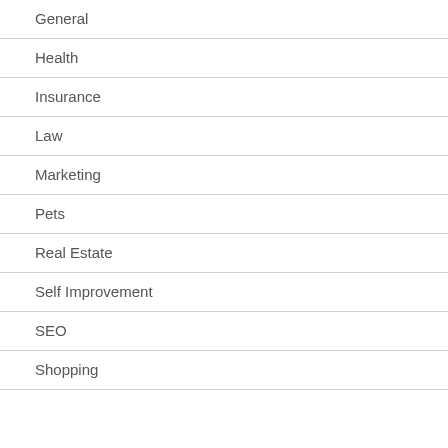General
Health
Insurance
Law
Marketing
Pets
Real Estate
Self Improvement
SEO
Shopping